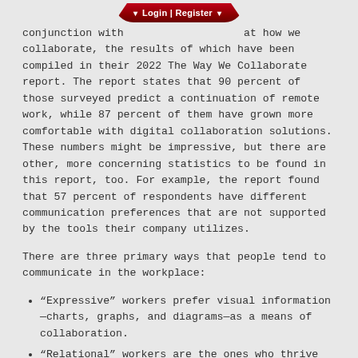Login | Register
conjunction with [Login | Register] at how we collaborate, the results of which have been compiled in their 2022 The Way We Collaborate report. The report states that 90 percent of those surveyed predict a continuation of remote work, while 87 percent of them have grown more comfortable with digital collaboration solutions. These numbers might be impressive, but there are other, more concerning statistics to be found in this report, too. For example, the report found that 57 percent of respondents have different communication preferences that are not supported by the tools their company utilizes.
There are three primary ways that people tend to communicate in the workplace:
“Expressive” workers prefer visual information—charts, graphs, and diagrams—as a means of collaboration.
“Relational” workers are the ones who thrive when they are able to form bonds with their coworkers…